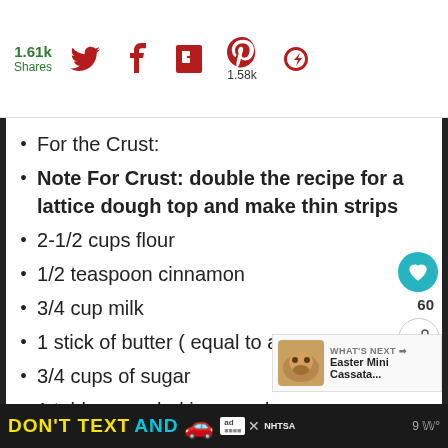1.61k Shares [social share bar with Twitter, Facebook, Flipboard, Pinterest 1.58k, and other icons]
For the Crust:
Note For Crust: double the recipe for a lattice dough top and make thin strips
2-1/2 cups flour
1/2 teaspoon cinnamon
3/4 cup milk
1 stick of butter ( equal to a 1/2 cup)
3/4 cups of sugar
1 tablespoon baking powder
Other suggestions: this recipe can easily
DON'T TEXT AND [car emoji] ad NHTSA [weather/channel icons]